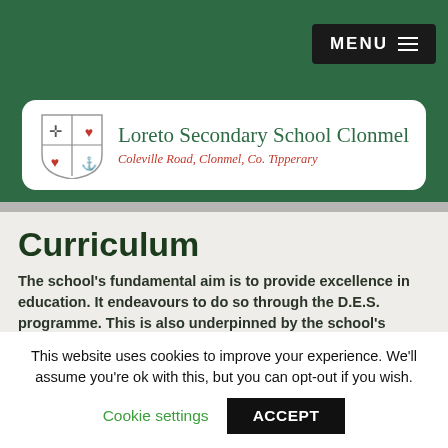MENU
[Figure (logo): Loreto Secondary School Clonmel crest/shield logo with cross and heart symbols, alongside school name and address]
Curriculum
The school's fundamental aim is to provide excellence in education.  It endeavours to do so through the D.E.S. programme.  This is also underpinned by the school's Mission Statement which affirms our commitment to provide the
This website uses cookies to improve your experience. We'll assume you're ok with this, but you can opt-out if you wish.
Cookie settings  ACCEPT